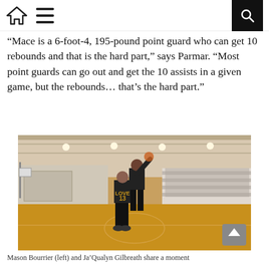Home | Menu | Search
“Mace is a 6-foot-4, 195-pound point guard who can get 10 rebounds and that is the hard part,” says Parmar. “Most point guards can go out and get the 10 assists in a given game, but the rebounds… that’s the hard part.”
[Figure (photo): Two basketball players in black uniforms on an indoor basketball court. The player facing away wears jersey number 13 with name LOVE. Another player appears to be jumping. Crowd visible in the background bleachers.]
Mason Bourrier (left) and Ja’Qualyn Gilbreath share a moment